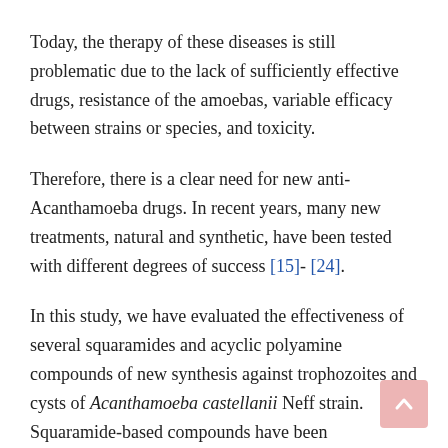Today, the therapy of these diseases is still problematic due to the lack of sufficiently effective drugs, resistance of the amoebas, variable efficacy between strains or species, and toxicity.
Therefore, there is a clear need for new anti-Acanthamoeba drugs. In recent years, many new treatments, natural and synthetic, have been tested with different degrees of success [15]- [24].
In this study, we have evaluated the effectiveness of several squaramides and acyclic polyamine compounds of new synthesis against trophozoites and cysts of Acanthamoeba castellanii Neff strain. Squaramide-based compounds have been demonstrated to be therapeutic, and we have described some series of oligomeric cyclosquaramides as kinase inhibitors with antitumor activity [25]. The antiparasitic activity of squaramides has been demonstrated, also, some showing antimalarial [26]and others antichagasic activity...